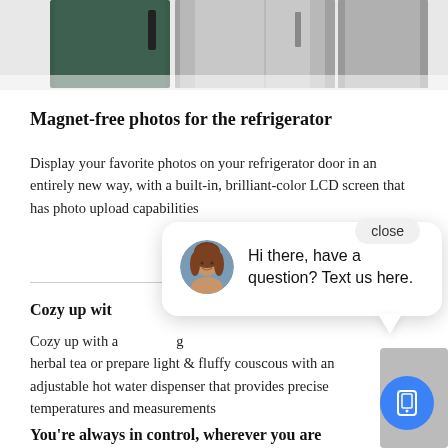[Figure (photo): Top portion of refrigerators shown against a white background, including a dark green refrigerator and stainless steel refrigerators side by side]
Magnet-free photos for the refrigerator
Display your favorite photos on your refrigerator door in an entirely new way, with a built-in, brilliant-color LCD screen that has photo upload capabilities
Cozy up with
Cozy up with a ... herbal tea or prepare light & fluffy couscous with an adjustable hot water dispenser that provides precise temperatures and measurements
You're always in control, wherever you are
[Figure (screenshot): Chat popup overlay showing a woman's avatar photo and the text: Hi there, have a question? Text us here. With a close button and a blue phone/message floating action button.]